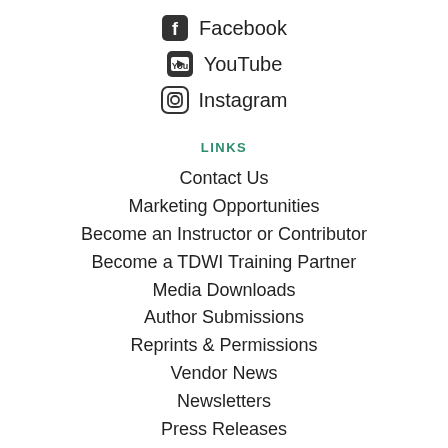Facebook
YouTube
Instagram
LINKS
Contact Us
Marketing Opportunities
Become an Instructor or Contributor
Become a TDWI Training Partner
Media Downloads
Author Submissions
Reprints & Permissions
Vendor News
Newsletters
Press Releases
Sitemap